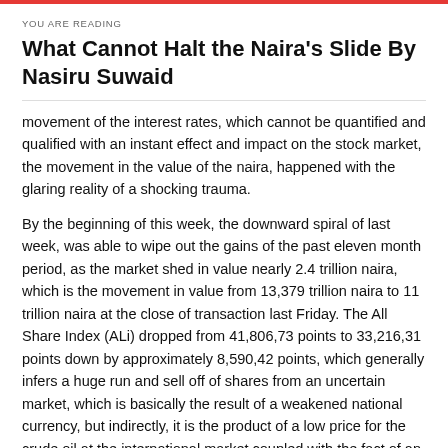YOU ARE READING
What Cannot Halt the Naira's Slide By Nasiru Suwaid
movement of the interest rates, which cannot be quantified and qualified with an instant effect and impact on the stock market, the movement in the value of the naira, happened with the glaring reality of a shocking trauma.
By the beginning of this week, the downward spiral of last week, was able to wipe out the gains of the past eleven month period, as the market shed in value nearly 2.4 trillion naira, which is the movement in value from 13,379 trillion naira to 11 trillion naira at the close of transaction last Friday. The All Share Index (ALi) dropped from 41,806,73 points to 33,216,31 points down by approximately 8,590,42 points, which generally infers a huge run and sell off of shares from an uncertain market, which is basically the result of a weakened national currency, but indirectly, it is the product of a low price for the crude oil at the international market coupled with the fact of an evident uncertainty about an emerging